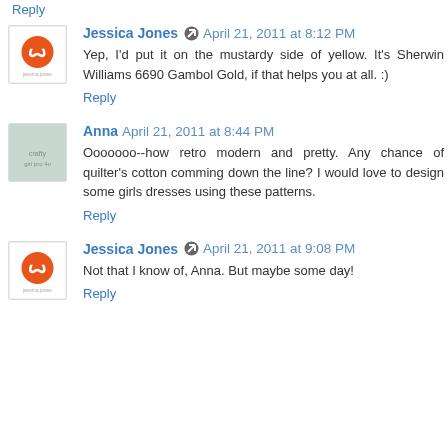Reply
Jessica Jones · April 21, 2011 at 8:12 PM
Yep, I'd put it on the mustardy side of yellow. It's Sherwin Williams 6690 Gambol Gold, if that helps you at all. :)
Reply
Anna · April 21, 2011 at 8:44 PM
Ooooooo--how retro modern and pretty. Any chance of quilter's cotton comming down the line? I would love to design some girls dresses using these patterns.
Reply
Jessica Jones · April 21, 2011 at 9:08 PM
Not that I know of, Anna. But maybe some day!
Reply